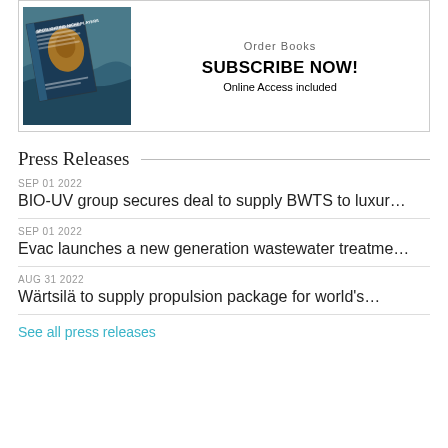[Figure (illustration): Advertisement box showing a book cover with 'SPOTLIGHTING NICHE PLAYERS' text and 'SUBSCRIBE NOW! Online Access included' text. Shows a book image on ocean background.]
Press Releases
SEP 01 2022
BIO-UV group secures deal to supply BWTS to luxur...
SEP 01 2022
Evac launches a new generation wastewater treatme...
AUG 31 2022
Wärtsilä to supply propulsion package for world's...
See all press releases